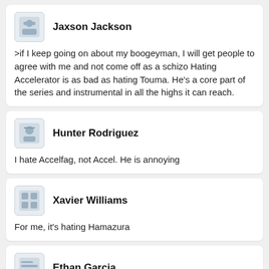Jaxson Jackson
>if I keep going on about my boogeyman, I will get people to agree with me and not come off as a schizo Hating Accelerator is as bad as hating Touma. He's a core part of the series and instrumental in all the highs it can reach.
Hunter Rodriguez
I hate Accelfag, not Accel. He is annoying
Xavier Williams
For me, it's hating Hamazura
Ethan Garcia
Railgun T was good looking but bland. That's just how it